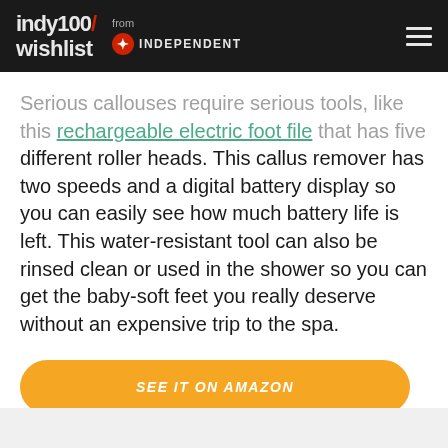indy100/ wishlist from INDEPENDENT
Serious callouses require serious tools, like this rechargeable electric foot file that has five different roller heads. This callus remover has two speeds and a digital battery display so you can easily see how much battery life is left. This water-resistant tool can also be rinsed clean or used in the shower so you can get the baby-soft feet you really deserve without an expensive trip to the spa.
SEE IT ON AMAZON